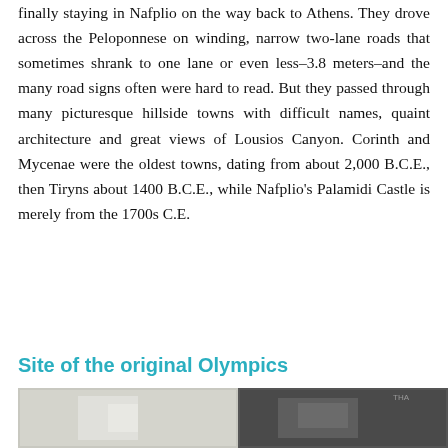finally staying in Nafplio on the way back to Athens. They drove across the Peloponnese on winding, narrow two-lane roads that sometimes shrank to one lane or even less–3.8 meters–and the many road signs often were hard to read. But they passed through many picturesque hillside towns with difficult names, quaint architecture and great views of Lousios Canyon. Corinth and Mycenae were the oldest towns, dating from about 2,000 B.C.E., then Tiryns about 1400 B.C.E., while Nafplio's Palamidi Castle is merely from the 1700s C.E.
Site of the original Olympics
Ancient Olympia dates back to Mycenaean times, peaking in popularity in approx. 1600 B.C.E. The first site of the Olympic
[Figure (photo): Two photographs side by side at the bottom of the page, partially visible. Left photo appears lighter/white toned, right photo appears darker.]